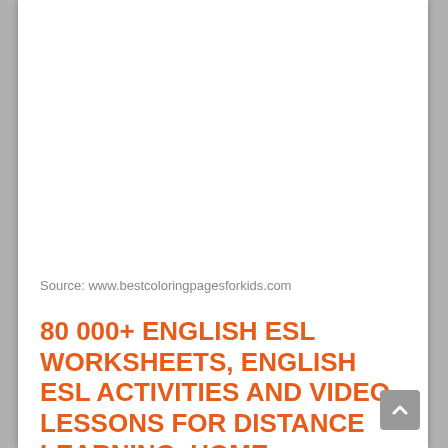[Figure (other): Blank white area at top of page (image placeholder)]
Source: www.bestcoloringpagesforkids.com
80 000+ ENGLISH ESL WORKSHEETS, ENGLISH ESL ACTIVITIES AND VIDEO LESSONS FOR DISTANCE LEARNING, HOME LEARNING AND PRINTABLES FOR PHYSICAL CLASSROOMS